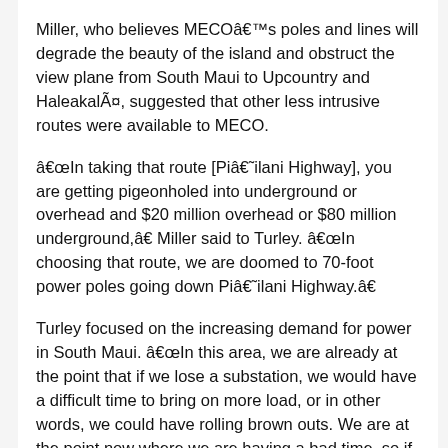Miller, who believes MECO’s poles and lines will degrade the beauty of the island and obstruct the view plane from South Maui to Upcountry and Haleakalā, suggested that other less intrusive routes were available to MECO.
“In taking that route [Pia˜ilani Highway], you are getting pigeonholed into underground or overhead and $20 million overhead or $80 million underground,” Miller said to Turley. “In choosing that route, we are doomed to 70-foot power poles going down Pia˜ilani Highway.”
Turley focused on the increasing demand for power in South Maui. “In this area, we are already at the point that if we lose a substation, we would have a difficult time to bring on more load, or in other words, we could have rolling brown outs. We are at the point now where we are having a bad time, so if any more